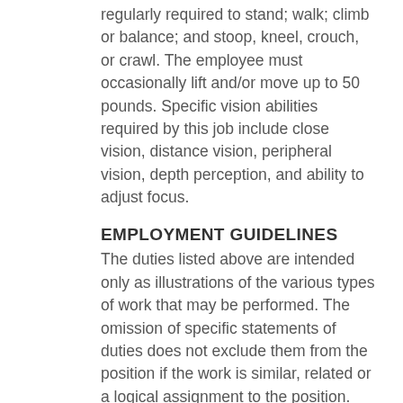regularly required to stand; walk; climb or balance; and stoop, kneel, crouch, or crawl. The employee must occasionally lift and/or move up to 50 pounds. Specific vision abilities required by this job include close vision, distance vision, peripheral vision, depth perception, and ability to adjust focus.
EMPLOYMENT GUIDELINES
The duties listed above are intended only as illustrations of the various types of work that may be performed. The omission of specific statements of duties does not exclude them from the position if the work is similar, related or a logical assignment to the position.
This job description does not constitute an employment agreement between the employer and employee and is subject to change by the employer as the needs of the employer and